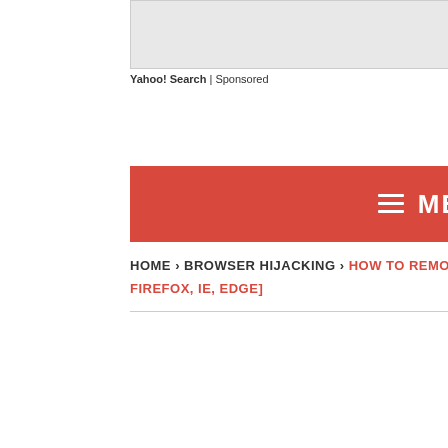[Figure (other): Advertisement banner placeholder — light gray rectangle]
Yahoo! Search | Sponsored
[Figure (other): Red menu bar with hamburger icon and MENU text]
HOME › BROWSER HIJACKING › HOW TO REMOVE STARTPAGEWEB.COM [CHROME, FIREFOX, IE, EDGE]